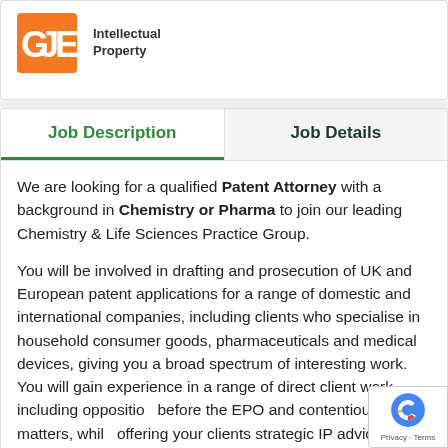[Figure (logo): GJE Intellectual Property logo — orange square with white letters GJE, text 'Intellectual Property' to the right]
Job Description
Job Details
We are looking for a qualified Patent Attorney with a background in Chemistry or Pharma to join our leading Chemistry & Life Sciences Practice Group.
You will be involved in drafting and prosecution of UK and European patent applications for a range of domestic and international companies, including clients who specialise in household consumer goods, pharmaceuticals and medical devices, giving you a broad spectrum of interesting work. You will gain experience in a range of direct client work, including opposition before the EPO and contentious matters, while offering your clients strategic IP advice.